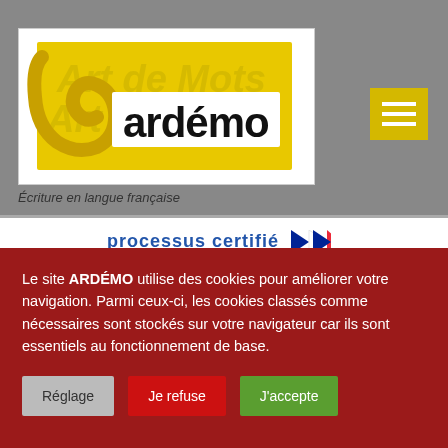[Figure (logo): ARDÉMO logo with yellow swirl and bold text 'ardémo' on white background with 'Art de Mots' watermark text]
Écriture en langue française
[Figure (infographic): processus certifié banner with French flag chevrons, RÉPUBLIQUE FRANÇAISE logo and text 'La certification qualité a été délivrée']
Le site ARDÉMO utilise des cookies pour améliorer votre navigation. Parmi ceux-ci, les cookies classés comme nécessaires sont stockés sur votre navigateur car ils sont essentiels au fonctionnement de base.
Réglage
Je refuse
J'accepte